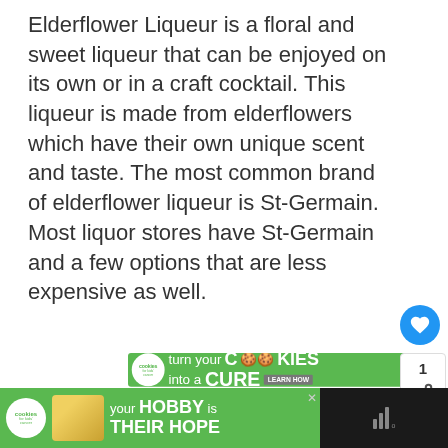Elderflower Liqueur is a floral and sweet liqueur that can be enjoyed on its own or in a craft cocktail. This liqueur is made from elderflowers which have their own unique scent and taste. The most common brand of elderflower liqueur is St-Germain. Most liquor stores have St-Germain and a few options that are less expensive as well.
[Figure (screenshot): Green advertisement banner for 'cookies for kids cancer' showing 'turn your COOKIES into a CURE LEARN HOW' with cookie images and a close X button]
[Figure (screenshot): Side panel showing number 1 and share icon, and a 'WHAT'S NEXT' panel with thumbnail image and text 'Gin Elderflower...']
[Figure (screenshot): Bottom black and green advertisement banner for 'cookies for kids cancer' showing 'your HOBBY is their HOPE' with a heart-shaped cookie image and close X button]